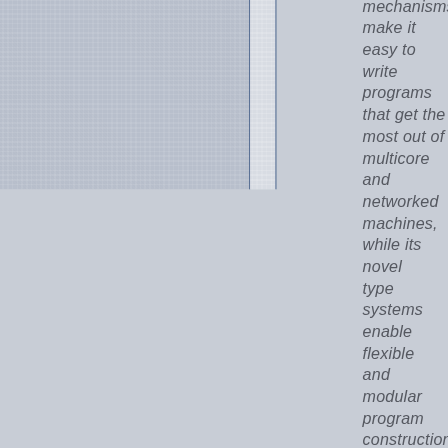mechanisms make it easy to write programs that get the most out of multicore and networked machines, while its novel type systems enable flexible and modular program constructions. Go compiles quickly to machine code and has the convenience of garbage collection and the power of run-time